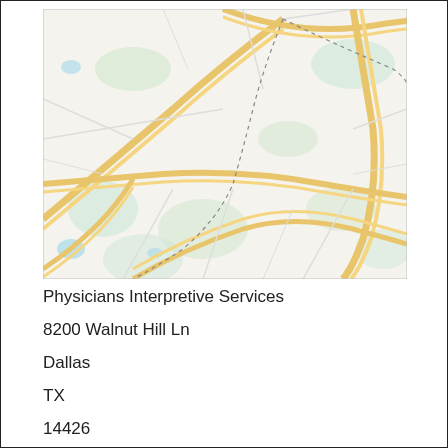[Figure (map): Street map showing the Dallas, TX area with yellow roads/highways and light green areas, dotted boundary lines visible across the map.]
Physicians Interpretive Services
8200 Walnut Hill Ln
Dallas
TX
14426